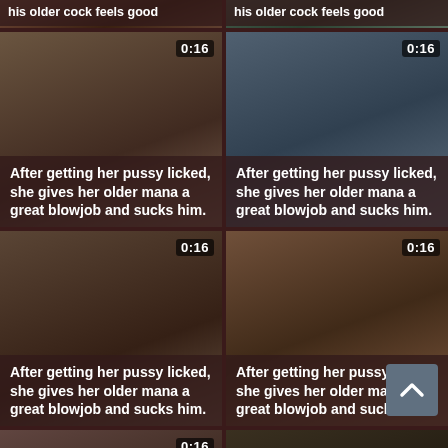[Figure (screenshot): Video thumbnail grid top row - two thumbnails with title 'his older cock feels good' visible at top]
his older cock feels good
his older cock feels good
[Figure (screenshot): Video thumbnail - After getting her pussy licked, she gives her older mana a great blowjob and sucks him. Duration 0:16]
[Figure (screenshot): Video thumbnail - After getting her pussy licked, she gives her older mana a great blowjob and sucks him. Duration 0:16 - Christmas tree background]
After getting her pussy licked, she gives her older mana a great blowjob and sucks him.
After getting her pussy licked, she gives her older mana a great blowjob and sucks him.
[Figure (screenshot): Video thumbnail - After getting her pussy licked, she gives her older mana a great blowjob and sucks him. Duration 0:16]
[Figure (screenshot): Video thumbnail - After getting her pussy licked, she gives her older mana a great blowjob and sucks him. Duration 0:16 - Santa costume]
After getting her pussy licked, she gives her older mana a great blowjob and sucks him.
After getting her pussy licked, she gives her older mana a great blowjob and sucks him.
[Figure (screenshot): Video thumbnail - Lola gets her pussy eaten out and licked by her older. Duration 0:16]
[Figure (screenshot): Video thumbnail - Lola gets her pussy eaten out and licked by her older]
Lola gets her pussy eaten out and licked by her older
Lola gets her pussy eaten out and licked by her older